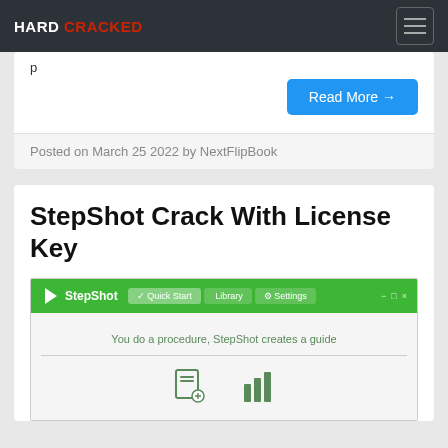HARD CRACKED
p
Read More →
Posted on March 25 2022 by NextFlipBook
StepShot Crack With License Key
[Figure (screenshot): StepShot application window with green navbar showing Quick Start, Library, and Settings tabs, and tagline 'You do a procedure, StepShot creates a guide']